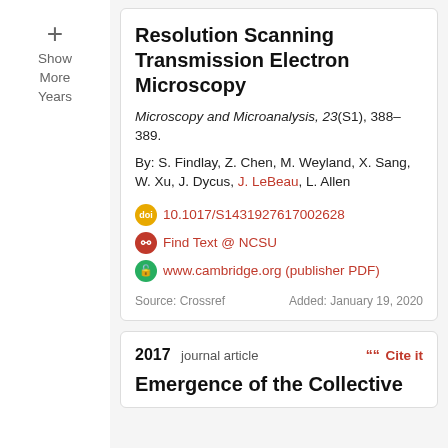+ Show More Years
Resolution Scanning Transmission Electron Microscopy
Microscopy and Microanalysis, 23(S1), 388–389.
By: S. Findlay, Z. Chen, M. Weyland, X. Sang, W. Xu, J. Dycus, J. LeBeau, L. Allen
10.1017/S1431927617002628
Find Text @ NCSU
www.cambridge.org (publisher PDF)
Source: Crossref    Added: January 19, 2020
2017  journal article    Cite it
Emergence of the Collective